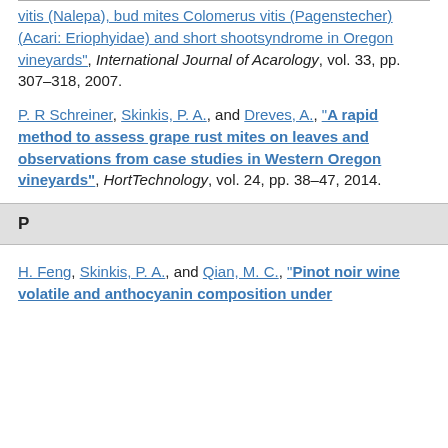vitis (Nalepa), bud mites Colomerus vitis (Pagenstecher)(Acari: Eriophyidae) and short shootsyndrome in Oregon vineyards", International Journal of Acarology, vol. 33, pp. 307–318, 2007.
P. R Schreiner, Skinkis, P. A., and Dreves, A., "A rapid method to assess grape rust mites on leaves and observations from case studies in Western Oregon vineyards", HortTechnology, vol. 24, pp. 38–47, 2014.
P
H. Feng, Skinkis, P. A., and Qian, M. C., "Pinot noir wine volatile and anthocyanin composition under